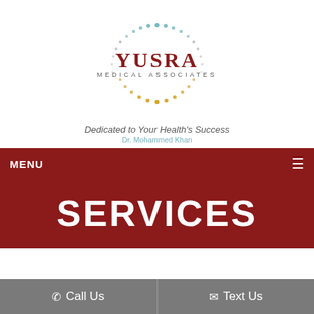[Figure (logo): Yusra Medical Associates logo with circular dot pattern in teal, grey, and gold/orange surrounding the text 'YUSRA MEDICAL ASSOCIATES']
Dedicated to Your Health's Success
Dr. Mohammed Khan
MENU
SERVICES
Call Us
Text Us